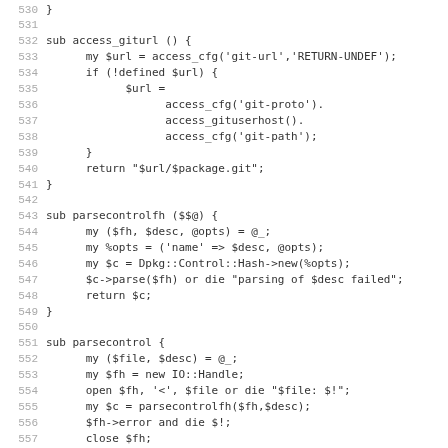Source code listing lines 530-562, Perl subroutines: access_giturl, parsecontrolfh, parsecontrol, getfield